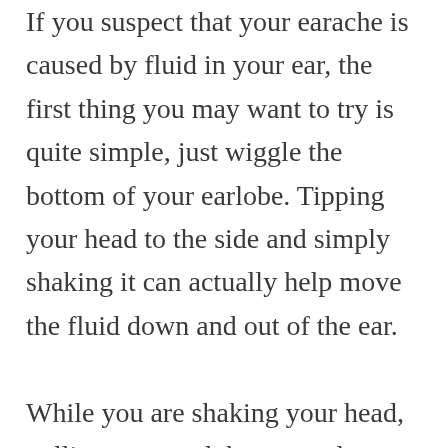If you suspect that your earache is caused by fluid in your ear, the first thing you may want to try is quite simple, just wiggle the bottom of your earlobe. Tipping your head to the side and simply shaking it can actually help move the fluid down and out of the ear.

While you are shaking your head, pulling your earlobe out and shaking it can help as well. Gently pull your